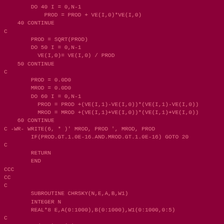DO 40 I = 0,N-1
            PROD = PROD + VE(I,0)*VE(I,0)
    40 CONTINUE
C
        PROD = SQRT(PROD)
        DO 50 I = 0,N-1
          VE(I,0)= VE(I,0) / PROD
    50 CONTINUE
C
        PROD = 0.0D0
        MROD = 0.0D0
        DO 60 I = 0,N-1
          PROD = PROD +(VE(I,1)-VE(I,0))*(VE(I,1)-VE(I,0))
          MROD = MROD +(VE(I,1)+VE(I,0))*(VE(I,1)+VE(I,0))
    60 CONTINUE
C -WR- WRITE(6, * )' MROD, PROD ', MROD, PROD
        IF(PROD.GT.1.0E-16.AND.MROD.GT.1.0E-16) GOTO 20
C
        RETURN
        END
CCC
CC
C
        SUBROUTINE CHRSKY(N,E,A,B,W1)
        INTEGER N
        REAL*8 E,A(0:1000),B(0:1000),W1(0:1000,0:5)
C
        W1(0,0)= A(0)- E
        DO 10 I = 0,N - 2
          W1(I,1)= B(I)/W1(I,0)